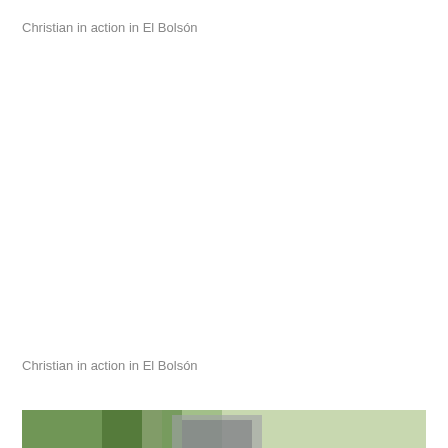Christian in action in El Bolsón
[Figure (photo): Large white/blank photo area representing a photo of Christian in action in El Bolsón]
Christian in action in El Bolsón
[Figure (photo): Bottom cropped photo showing outdoor greenery and a person, partial view at the bottom of the page]